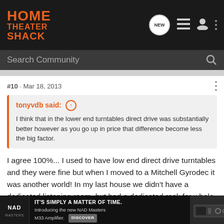HOME THEATER SHACK — navigation bar with search
#10 · Mar 18, 2013
tonyvdb said: ↑
I think that in the lower end turntables direct drive was substantially better however as you go up in price that difference become less the big factor.
I agree 100%... I used to have low end direct drive turntables and they were fine but when I moved to a Mitchell Gyrodec it was another world! In my last house we didn't have a dedicated listening room, but had a dedicated rack for whole house audio and HD. That signaled the end of my turntable listening days so I sold it.
[Figure (screenshot): NAD Masters M33 Amplifier advertisement banner at bottom of page]